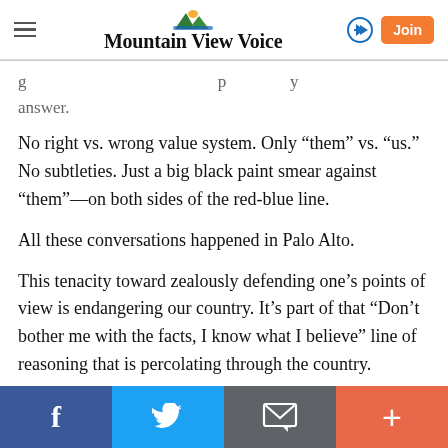Mountain View Voice
g... answer.
No right vs. wrong value system. Only “them” vs. “us.” No subtleties. Just a big black paint smear against “them”—on both sides of the red-blue line.
All these conversations happened in Palo Alto.
This tenacity toward zealously defending one’s points of view is endangering our country. It’s part of that “Don’t bother me with the facts, I know what I believe” line of reasoning that is percolating through the country.
Facebook | Twitter | Email | More